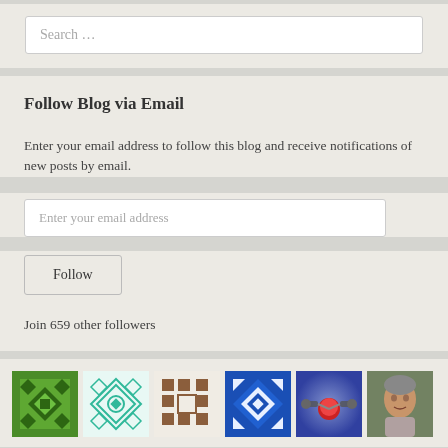Search …
Follow Blog via Email
Enter your email address to follow this blog and receive notifications of new posts by email.
Enter your email address
Follow
Join 659 other followers
[Figure (illustration): Six follower avatar thumbnails: green geometric quilt pattern, teal geometric quilt pattern, brown/tan geometric pattern, blue geometric quilt pattern, red molecule on blue-purple background, portrait photo of older man]